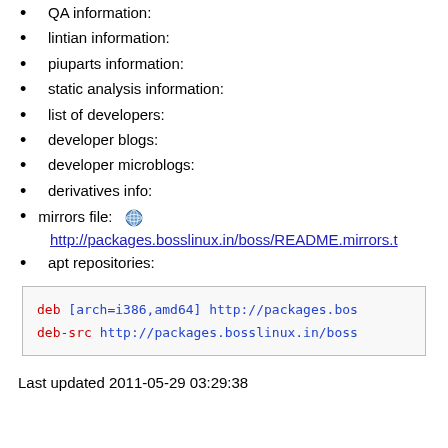QA information:
lintian information:
piuparts information:
static analysis information:
list of developers:
developer blogs:
developer microblogs:
derivatives info:
mirrors file: [globe icon] http://packages.bosslinux.in/boss/README.mirrors.t
apt repositories:
deb [arch=i386,amd64] http://packages.bos
deb-src http://packages.bosslinux.in/boss
Last updated 2011-05-29 03:29:38